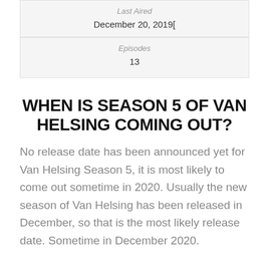| Last Aired |
| --- |
| December 20, 2019[ |
| Episodes |
| --- |
| 13 |
WHEN IS SEASON 5 OF VAN HELSING COMING OUT?
No release date has been announced yet for Van Helsing Season 5, it is most likely to come out sometime in 2020. Usually the new season of Van Helsing has been released in December, so that is the most likely release date. Sometime in December 2020.